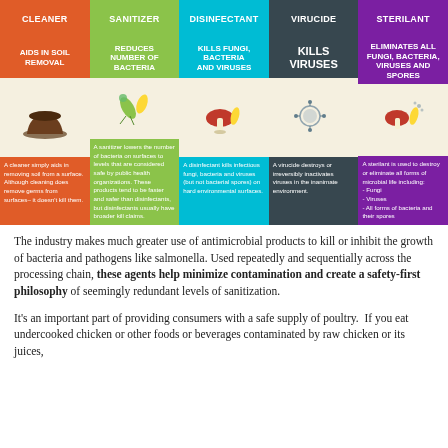[Figure (infographic): Five-column infographic showing levels of antimicrobial products: Cleaner (aids in soil removal), Sanitizer (reduces number of bacteria), Disinfectant (kills fungi, bacteria and viruses), Virucide (kills viruses), Sterilant (eliminates all fungi, bacteria, viruses and spores), each with an icon and description text.]
The industry makes much greater use of antimicrobial products to kill or inhibit the growth of bacteria and pathogens like salmonella. Used repeatedly and sequentially across the processing chain, these agents help minimize contamination and create a safety-first philosophy of seemingly redundant levels of sanitization.
It's an important part of providing consumers with a safe supply of poultry.  If you eat undercooked chicken or other foods or beverages contaminated by raw chicken or its juices,